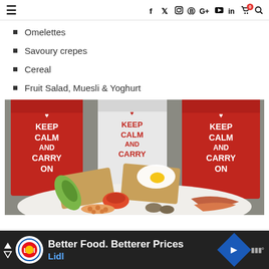Navigation bar with hamburger menu and social icons: f, twitter, instagram, pinterest, G+, youtube, in, cart (0), search
Omelettes
Savoury crepes
Cereal
Fruit Salad, Muesli & Yoghurt
[Figure (photo): A plate of breakfast food including a fried egg on toast, avocado, baked beans, mushrooms, tomato, and bacon. In the background are three 'Keep Calm and Carry On' tins in red and white.]
[Figure (infographic): Advertisement banner: Lidl logo, text 'Better Food. Betterer Prices', 'Lidl', blue diamond with navigation arrow icon, mute icon.]